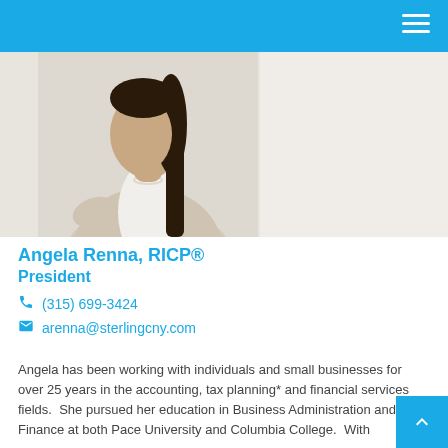[Figure (photo): Professional headshot of Angela Renna, a woman in a beige blazer with dark long hair, posed with hand on hip against a light background.]
Angela Renna, RICP®
President
(315) 699-3424
arenna@sterlingcny.com
Angela has been working with individuals and small businesses for over 25 years in the accounting, tax planning* and financial services fields.  She pursued her education in Business Administration and Finance at both Pace University and Columbia College.  With